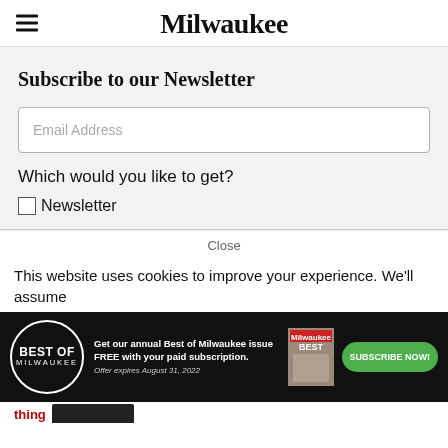Milwaukee
Subscribe to our Newsletter
Email Address
Which would you like to get?
Newsletter
Close
This website uses cookies to improve your experience. We'll assume
[Figure (infographic): Best of Milwaukee subscription advertisement banner. Black background. Circular badge with 'BEST OF MILWAUKEE' text. Ad text: 'Get our annual Best of Milwaukee issue FREE with your paid subscription. Offer expires August 31, 2022'. Green 'SUBSCRIBE NOW!' button. Magazine cover image.]